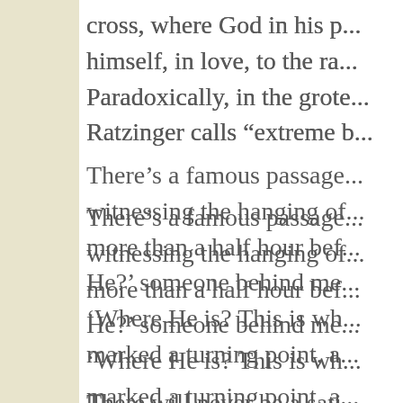cross, where God in his p... himself, in love, to the ra... Paradoxically, in the grote... Ratzinger calls “extreme b...
There’s a famous passage... witnessing the hanging of... more than a half hour bef... He?’ someone behind me... ‘Where He is? This is wh... marked a turning point, a...
There will never be a sati... as close to an answer as th... apart from human sufferin... himself vulnerable, and d... hanging from the gallows... as it is to see or to feel at... not as perpetrator but as c...
By placing the wounds of...